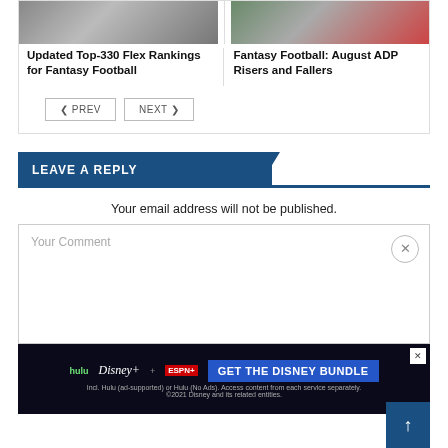[Figure (photo): Two article card thumbnails side by side: left shows a sports/football image (dark/gray), right shows a quarterback throwing a football]
Updated Top-330 Flex Rankings for Fantasy Football
Fantasy Football: August ADP Risers and Fallers
‹ PREV   NEXT ›
LEAVE A REPLY
Your email address will not be published.
Your Comment
[Figure (screenshot): Disney Bundle advertisement banner with Hulu, Disney+, ESPN+ logos and 'GET THE DISNEY BUNDLE' call to action. Incl. Hulu (ad-supported) or Hulu (No Ads). Access content from each service separately. ©2021 Disney and its related entities.]